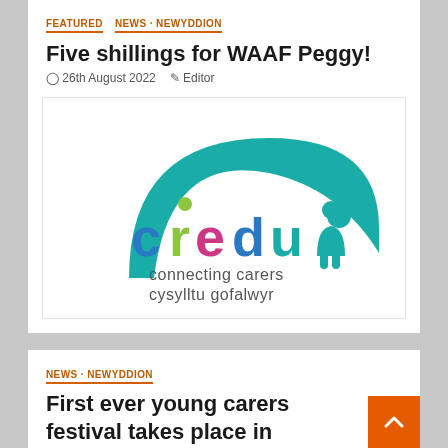FEATURED   NEWS · NEWYDDION
Five shillings for WAAF Peggy!
26th August 2022   Editor
[Figure (logo): Credu logo — colourful letters spelling 'credu' with a teal arch above and two stylised people figures, subtitle: connecting carers / cysylltu gofalwyr]
NEWS · NEWYDDION
First ever young carers festival takes place in Wales